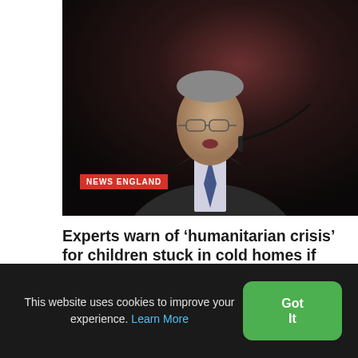[Figure (photo): Photo of an elderly man in a dark suit speaking at a podium with a microphone, dark background. A red badge reads NEWS ENGLAND in the lower left of the photo.]
Experts warn of ‘humanitarian crisis’ for children stuck in cold homes if Government does not act
1st September 2022
This website uses cookies to improve your experience. Learn More